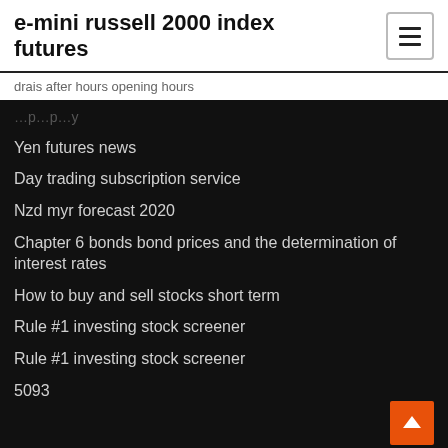e-mini russell 2000 index futures
drais after hours opening hours
Yen futures news
Day trading subscription service
Nzd myr forecast 2020
Chapter 6 bonds bond prices and the determination of interest rates
How to buy and sell stocks short term
Rule #1 investing stock screener
Rule #1 investing stock screener
5093